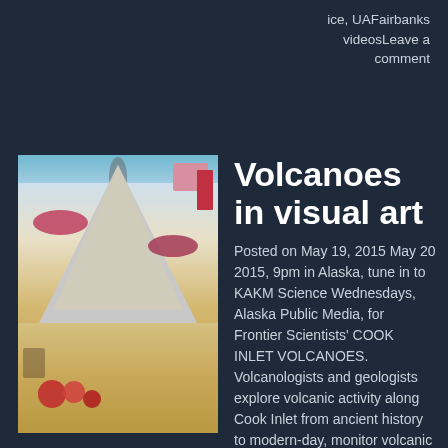ice, UAFairbanks videosLeave a comment
[Figure (illustration): Japanese woodblock print style illustration of a volcano erupting with smoke, red clouds, pink cherry blossoms, and red flowers in the foreground]
Volcanoes in visual art
Posted on May 19, 2015 May 20 2015, 9pm in Alaska, tune in to KAKM Science Wednesdays, Alaska Public Media, for Frontier Scientists' COOK INLET VOLCANOES. Volcanologists and geologists explore volcanic activity along Cook Inlet from ancient history to modern-day, monitor volcanic activity to provide important warnings, and even take a look at volcanoes from space. The episode features USGS [...]